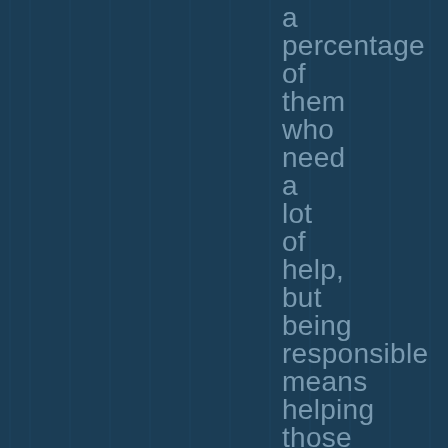a percentage of them who need a lot of help, but being responsible means helping those who are less